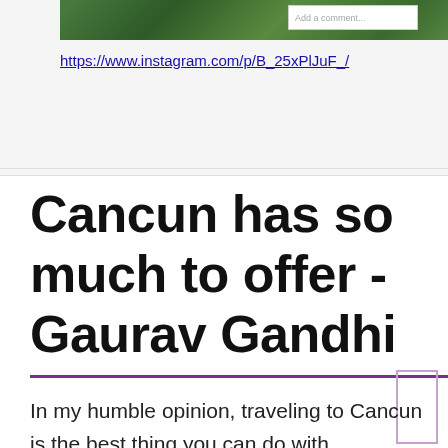[Figure (screenshot): Screenshot of an Instagram post showing a green leafy tree/vegetation image with a comment input box on the right side]
https://www.instagram.com/p/B_25xPlJuF_/
Cancun has so much to offer - Gaurav Gandhi
In my humble opinion, traveling to Cancun is the best thing you can do with September. Cancun has so much to offer, way more than vast and